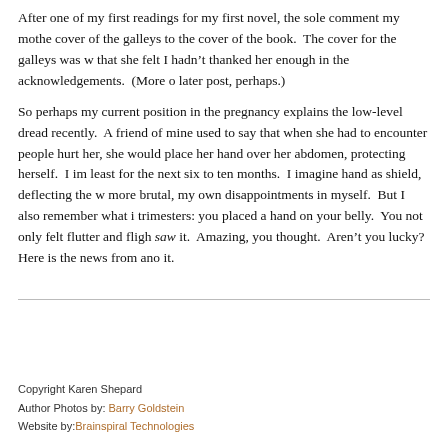After one of my first readings for my first novel, the sole comment my mother made was about the cover of the galleys to the cover of the book. The cover for the galleys was w… that she felt I hadn't thanked her enough in the acknowledgements. (More on this topic in a later post, perhaps.)
So perhaps my current position in the pregnancy explains the low-level dread I've been feeling recently. A friend of mine used to say that when she had to encounter people who had previously hurt her, she would place her hand over her abdomen, protecting herself. I imagine doing so, at least for the next six to ten months. I imagine hand as shield, deflecting the words, sometimes more brutal, my own disappointments in myself. But I also remember what it was like in those trimesters: you placed a hand on your belly. You not only felt flutter and flight beneath it, you saw it. Amazing, you thought. Aren't you lucky? Here is the news from another world beneath it.
Copyright Karen Shepard
Author Photos by: Barry Goldstein
Website by: Brainspiral Technologies